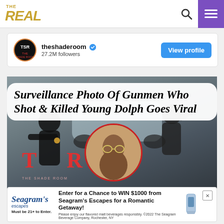THE REAL
theshaderoom · 27.2M followers
View profile
Surveillance Photo Of Gunmen Who Shot & Killed Young Dolph Goes Viral
[Figure (photo): Surveillance aerial photo of two gunmen in dark clothing near a silver sports car, with circular inset portrait of Young Dolph and TSR watermark logo]
Enter for a Chance to WIN $1000 from Seagram's Escapes for a Romantic Getaway! Must be 21+ to Enter.
Please enjoy our flavored malt beverages responsibly. ©2022 The Seagram Beverage Company, Rochester, NY